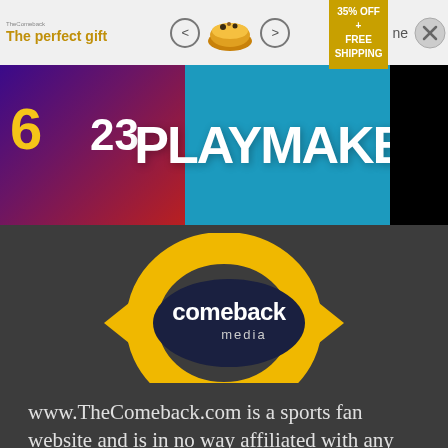[Figure (screenshot): Advertisement banner with 'The perfect gift' text, bowl image, arrows, 35% OFF + FREE SHIPPING badge, and close button]
[Figure (screenshot): Sports jerseys with numbers 6 and 23 alongside PLAYMAKER text on blue background]
[Figure (logo): Comeback Media logo - yellow/gold circular arrow design with 'comeback media' text in dark navy]
www.TheComeback.com is a sports fan website and is in no way affiliated with any professional sports team, league, or its Properties. This site is for informational and entertainment purposes only. Copyright ©